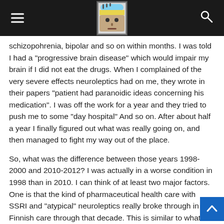Navigation header with hamburger menu, brain logo, and search icon
schizopohrenia, bipolar and so on within months. I was told I had a "progressive brain disease" which would impair my brain if I did not eat the drugs. When I complained of the very severe effects neuroleptics had on me, they wrote in their papers "patient had paranoidic ideas concerning his medication". I was off the work for a year and they tried to push me to some "day hospital" And so on. After about half a year I finally figured out what was really going on, and then managed to fight my way out of the place.
So, what was the difference between those years 1998-2000 and 2010-2012? I was actually in a worse condition in 1998 than in 2010. I can think of at least two major factors. One is that the kind of pharmaceutical health care with SSRI and "atypical" neuroleptics really broke through in Finnish care through that decade. This is similar to what Whitaker seems to address in Anatomy of an Epidemic. Other factor perhaps is that I went to